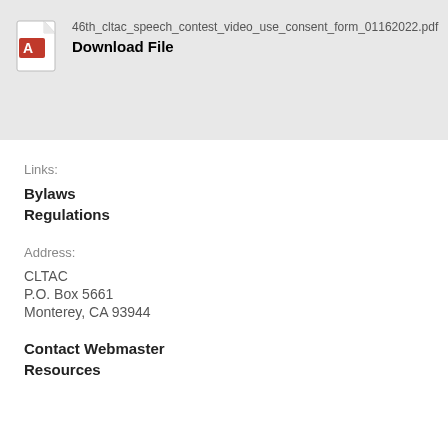[Figure (other): PDF file icon with red Adobe Acrobat logo]
46th_cltac_speech_contest_video_use_consent_form_01162022.pdf
Download File
Links:
Bylaws
Regulations
Address:
CLTAC
P.O. Box 5661
Monterey, CA 93944
Contact Webmaster
Resources